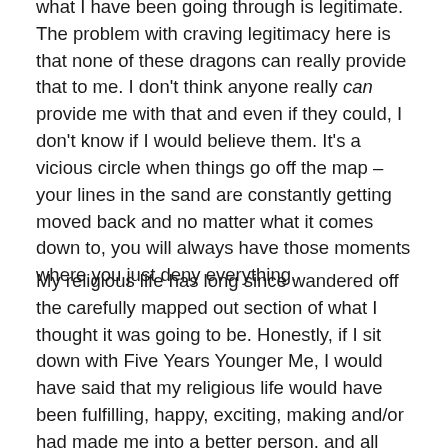what I have been going through is legitimate. The problem with craving legitimacy here is that none of these dragons can really provide that to me. I don't think anyone really can provide me with that and even if they could, I don't know if I would believe them. It's a vicious circle when things go off the map – your lines in the sand are constantly getting moved back and no matter what it comes down to, you will always have those moments where you just deny everything.
My religious life has long since wandered off the carefully mapped out section of what I thought it was going to be. Honestly, if I sit down with Five Years Younger Me, I would have said that my religious life would have been fulfilling, happy, exciting, making and/or had made me into a better person, and all about the laity: what that means, how that works, and being an "unexceptional, not speshul